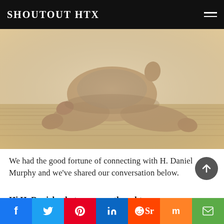SHOUTOUT HTX
[Figure (photo): Sepia-toned photograph of a baby sitting on a textured rug, legs extended forward, hands touching the ground]
We had the good fortune of connecting with H. Daniel Murphy and we've shared our conversation below.
Hi H. Daniel, what was your thought process behind starting your own business?